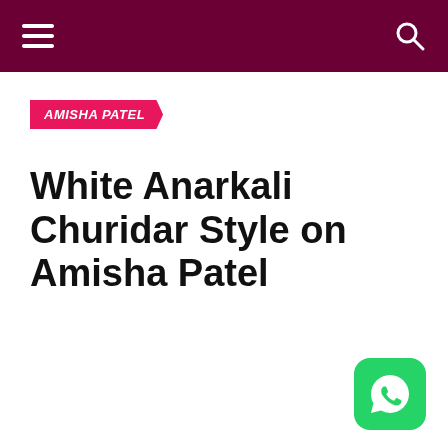AMISHA PATEL
White Anarkali Churidar Style on Amisha Patel
[Figure (logo): WhatsApp icon button in bottom right corner]